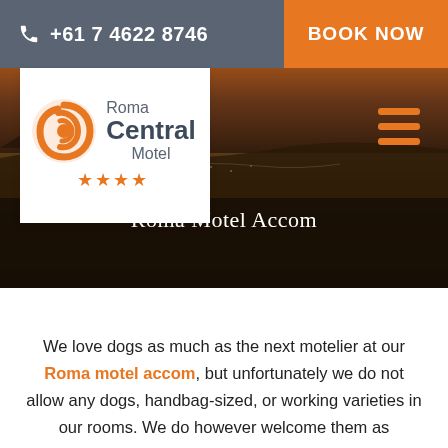+61 7 4622 8746 | BOOK NOW
[Figure (logo): Roma Central Motel logo with orange spiral circle and four orange stars]
[Figure (photo): Aerial landscape photo of Roma town at dusk/sunset with orange-brown earth tones]
Roma Motel Accom
We love dogs as much as the next motelier at our Roma motel accom, but unfortunately we do not allow any dogs, handbag-sized, or working varieties in our rooms. We do however welcome them as residents in your van, ute or car, with